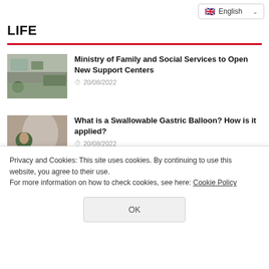English
LIFE
Ministry of Family and Social Services to Open New Support Centers — 20/08/2022
What is a Swallowable Gastric Balloon? How is it applied? — 20/08/2022
Cyclists who set off for the victory of
What are Financial Markets?
Privacy and Cookies: This site uses cookies. By continuing to use this website, you agree to their use.
For more information on how to check cookies, see here: Cookie Policy